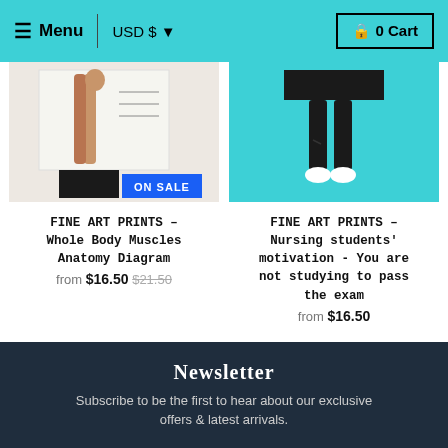Menu | USD $ ▼  🔒 0 Cart
[Figure (photo): Product image showing anatomical legs/muscles diagram poster with black display stand, ON SALE badge]
FINE ART PRINTS – Whole Body Muscles Anatomy Diagram
from $16.50 $21.50
[Figure (photo): Product image showing a person in black clothing and white sneakers on teal background]
FINE ART PRINTS – Nursing students' motivation - You are not studying to pass the exam
from $16.50
Newsletter
Subscribe to be the first to hear about our exclusive offers & latest arrivals.